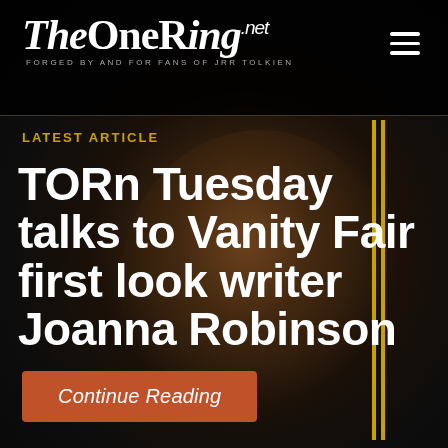[Figure (screenshot): TheOneRing.net website screenshot showing a dark-themed mobile webpage with a navigation header containing the site logo and hamburger menu, a background photo of a person wearing headphones and a red beanie hat, yellow decorative vertical lines on the right side, a 'LATEST ARTICLE' label in gold, a large white bold headline 'TORn Tuesday talks to Vanity Fair first look writer Joanna Robinson', and an orange 'Continue Reading' button at the bottom.]
TheOneRing.net — FORGED BY AND FOR FANS OF JRR TOLKIEN
LATEST ARTICLE
TORn Tuesday talks to Vanity Fair first look writer Joanna Robinson
Continue Reading